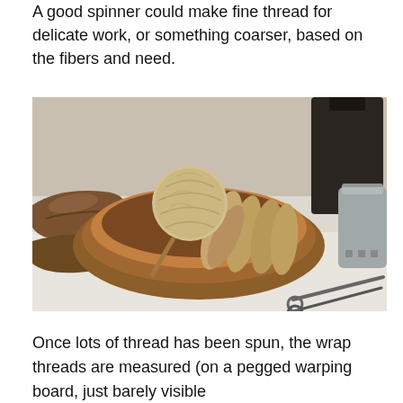A good spinner could make fine thread for delicate work, or something coarser, based on the fibers and need.
[Figure (photo): A wooden bowl on a white cloth surface containing a ball of natural-colored spun yarn and several spindles with thread wound around them. To the left is a wooden weaving shuttle, and to the right are a metallic cup and a pair of scissors.]
Once lots of thread has been spun, the wrap threads are measured (on a pegged warping board, just barely visible